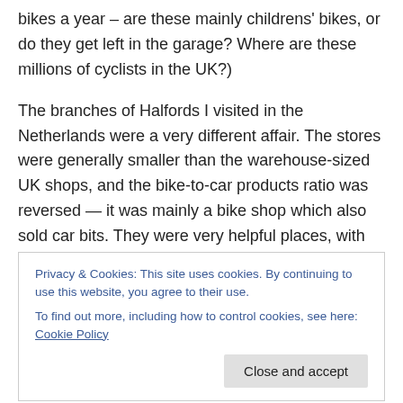bikes a year – are these mainly childrens' bikes, or do they get left in the garage? Where are these millions of cyclists in the UK?)
The branches of Halfords I visited in the Netherlands were a very different affair. The stores were generally smaller than the warehouse-sized UK shops, and the bike-to-car products ratio was reversed — it was mainly a bike shop which also sold car bits. They were very helpful places, with free bike tyre pumps by the door and they even lent me a spanner to tighten the seat on my hire bike, which
Privacy & Cookies: This site uses cookies. By continuing to use this website, you agree to their use.
To find out more, including how to control cookies, see here: Cookie Policy
Halfords in the Netherlands and Belgium, as far as I can